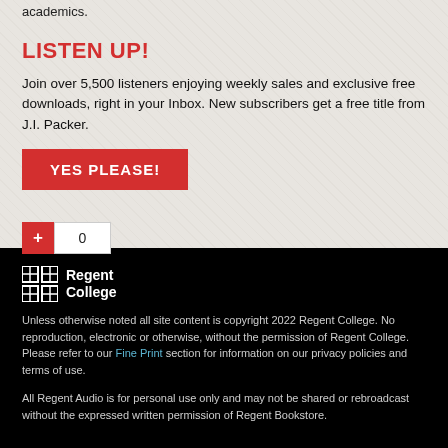academics.
LISTEN UP!
Join over 5,500 listeners enjoying weekly sales and exclusive free downloads, right in your Inbox. New subscribers get a free title from J.I. Packer.
YES PLEASE!
+ 0
[Figure (logo): Regent College logo with grid icon and text]
Unless otherwise noted all site content is copyright 2022 Regent College. No reproduction, electronic or otherwise, without the permission of Regent College. Please refer to our Fine Print section for information on our privacy policies and terms of use.
All Regent Audio is for personal use only and may not be shared or rebroadcast without the expressed written permission of Regent Bookstore.